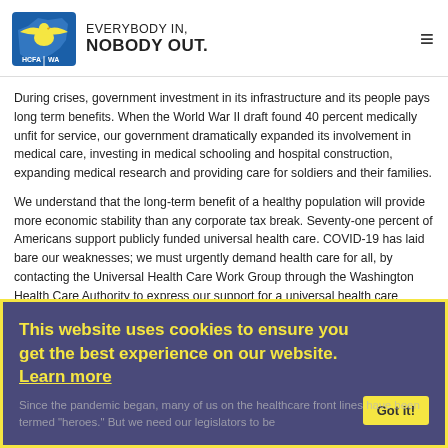EVERYBODY IN, NOBODY OUT. — HCFA WA
During crises, government investment in its infrastructure and its people pays long term benefits. When the World War II draft found 40 percent medically unfit for service, our government dramatically expanded its involvement in medical care, investing in medical schooling and hospital construction, expanding medical research and providing care for soldiers and their families.
We understand that the long-term benefit of a healthy population will provide more economic stability than any corporate tax break. Seventy-one percent of Americans support publicly funded universal health care. COVID-19 has laid bare our weaknesses; we must urgently demand health care for all, by contacting the Universal Health Care Work Group through the Washington Health Care Authority to express our support for a universal health care system that includes a comprehensive benefits package with public input, contracts directly with all providers and pays for all care, with healthcare provided by private and public entities as it is now
Since the pandemic began, many of us on the healthcare front lines have been termed "heroes." But we need our legislators to be
This website uses cookies to ensure you get the best experience on our website. Learn more